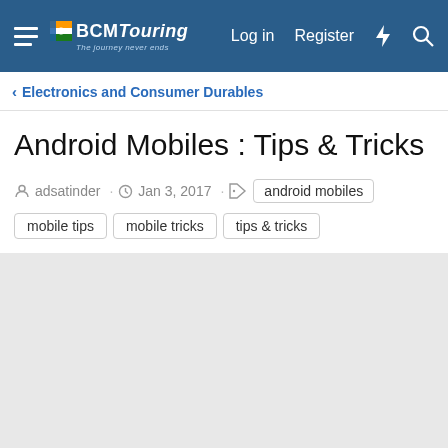BCMTouring — Log in · Register
< Electronics and Consumer Durables
Android Mobiles : Tips & Tricks
adsatinder · Jan 3, 2017 · android mobiles  mobile tips  mobile tricks  tips & tricks